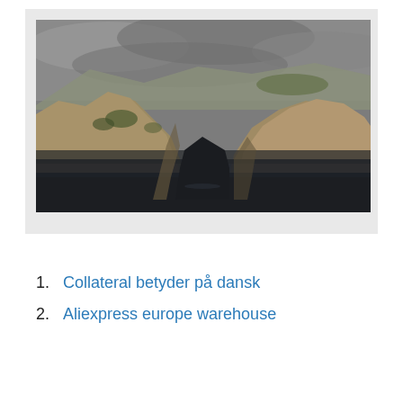[Figure (photo): Dramatic coastal landscape with rocky cliffs and dark water in the foreground, mountains in the background under an overcast grey sky. Photo is desaturated/moody in tone.]
1. Collateral betyder på dansk
2. Aliexpress europe warehouse